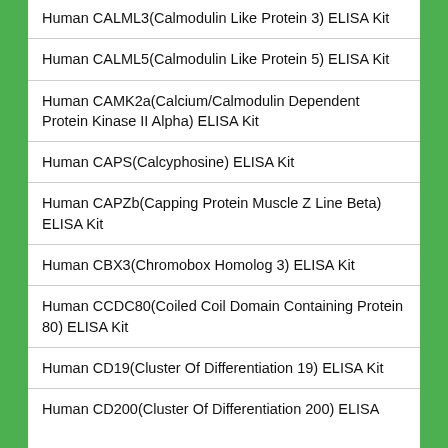Human CALML3(Calmodulin Like Protein 3) ELISA Kit
Human CALML5(Calmodulin Like Protein 5) ELISA Kit
Human CAMK2a(Calcium/Calmodulin Dependent Protein Kinase II Alpha) ELISA Kit
Human CAPS(Calcyphosine) ELISA Kit
Human CAPZb(Capping Protein Muscle Z Line Beta) ELISA Kit
Human CBX3(Chromobox Homolog 3) ELISA Kit
Human CCDC80(Coiled Coil Domain Containing Protein 80) ELISA Kit
Human CD19(Cluster Of Differentiation 19) ELISA Kit
Human CD200(Cluster Of Differentiation 200) ELISA